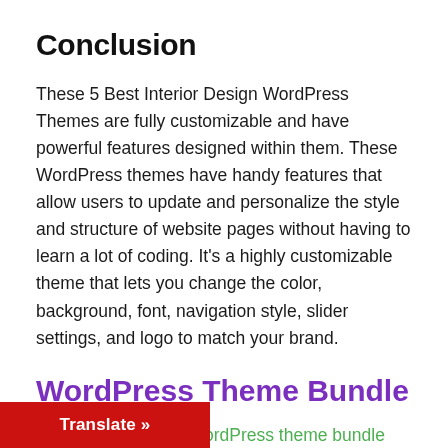Conclusion
These 5 Best Interior Design WordPress Themes are fully customizable and have powerful features designed within them. These WordPress themes have handy features that allow users to update and personalize the style and structure of website pages without having to learn a lot of coding. It's a highly customizable theme that lets you change the color, background, font, navigation style, slider settings, and logo to match your brand.
WordPress Theme Bundle
The features in our WordPress theme bundle are wrapped up with high-quality features and content for every business type.